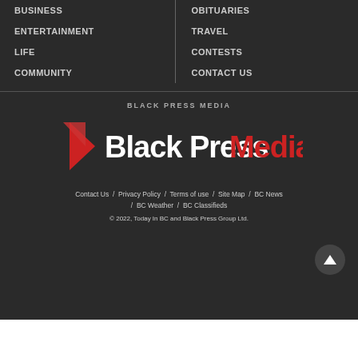BUSINESS
ENTERTAINMENT
LIFE
COMMUNITY
OBITUARIES
TRAVEL
CONTESTS
CONTACT US
BLACK PRESS MEDIA
[Figure (logo): Black Press Media logo with red arrow/flag icon, white 'Black Press' text, and red 'Media' text]
Contact Us / Privacy Policy / Terms of use / Site Map / BC News / BC Weather / BC Classifieds
© 2022, Today In BC and Black Press Group Ltd.